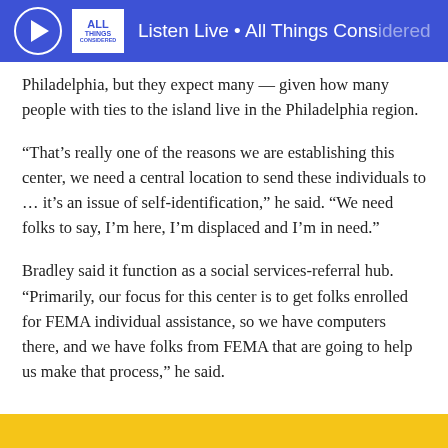Listen Live • All Things Considered
Philadelphia, but they expect many — given how many people with ties to the island live in the Philadelphia region.
“That’s really one of the reasons we are establishing this center, we need a central location to send these individuals to … it’s an issue of self-identification,” he said. “We need folks to say, I’m here, I’m displaced and I’m in need.”
Bradley said it function as a social services-referral hub. “Primarily, our focus for this center is to get folks enrolled for FEMA individual assistance, so we have computers there, and we have folks from FEMA that are going to help us make that process,” he said.